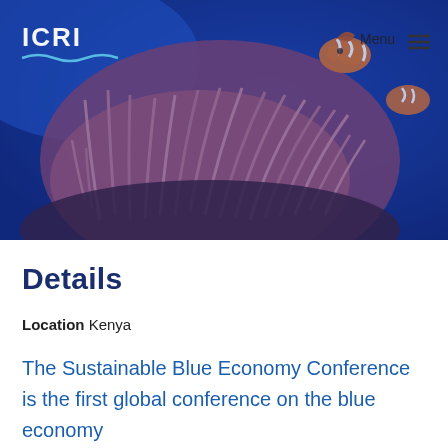[Figure (photo): Underwater photo of coral reef with sea anemone and clownfish on a blue ocean background, with ICRI logo and navigation menu overlay]
Details
Location Kenya
The Sustainable Blue Economy Conference is the first global conference on the blue economy